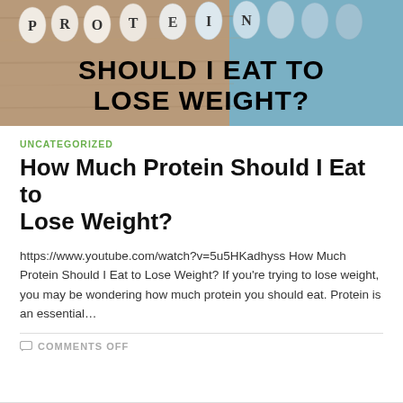[Figure (photo): Hero image showing eggs with letter tiles spelling PROTEIN on a wooden surface, with overlay text 'SHOULD I EAT TO LOSE WEIGHT?' in bold black uppercase letters]
UNCATEGORIZED
How Much Protein Should I Eat to Lose Weight?
https://www.youtube.com/watch?v=5u5HKadhyss How Much Protein Should I Eat to Lose Weight? If you're trying to lose weight, you may be wondering how much protein you should eat. Protein is an essential…
COMMENTS OFF